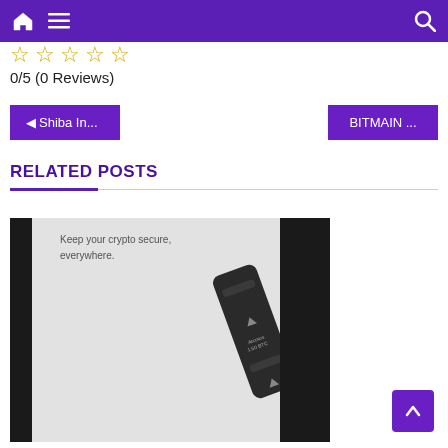Navigation bar with home, menu, and search icons
0/5 (0 Reviews)
◄ Shiba In...
BITMAIN ...
RELATED POSTS
[Figure (photo): Photo of a crypto hardware wallet device (Archos) in packaging. Text on packaging reads: Keep your crypto secure, everywhere. Device shows Archos 1.50 BTC branding.]
Back to top button